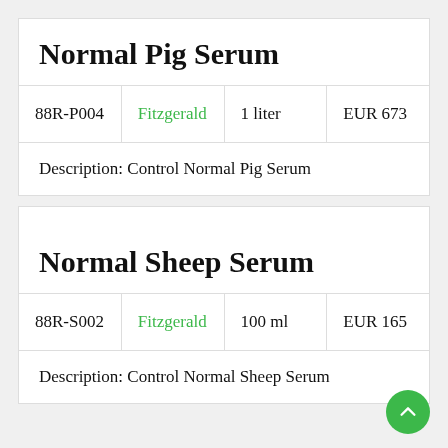Normal Pig Serum
| 88R-P004 | Fitzgerald | 1 liter | EUR 673 |
| --- | --- | --- | --- |
Description: Control Normal Pig Serum
Normal Sheep Serum
| 88R-S002 | Fitzgerald | 100 ml | EUR 165 |
| --- | --- | --- | --- |
Description: Control Normal Sheep Serum